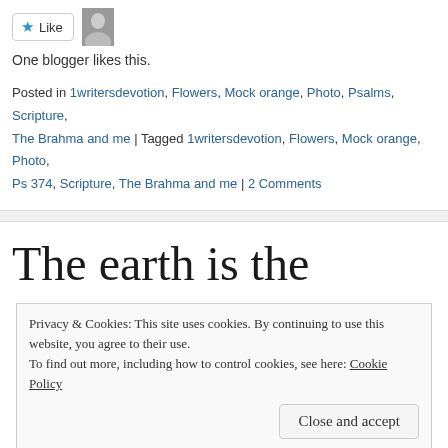[Figure (other): Like button with star icon and a small avatar photo of a person]
One blogger likes this.
Posted in 1writersdevotion, Flowers, Mock orange, Photo, Psalms, Scripture, The Brahma and me | Tagged 1writersdevotion, Flowers, Mock orange, Photo, Ps 374, Scripture, The Brahma and me | 2 Comments
The earth is the
Privacy & Cookies: This site uses cookies. By continuing to use this website, you agree to their use. To find out more, including how to control cookies, see here: Cookie Policy
Close and accept